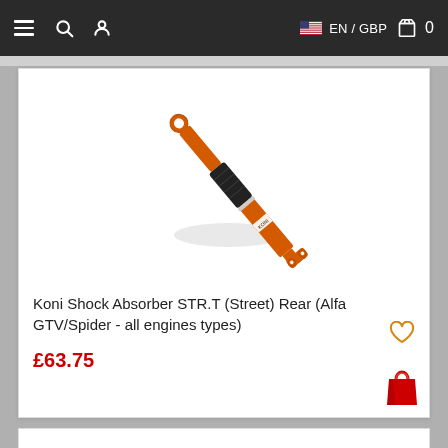≡  🔍  👤    🇺🇸 EN / GBP  🛍 0
[Figure (photo): Orange Koni shock absorber / strut (STR.T Street series), oriented diagonally, with black rubber boot at top and orange mounting brackets at both ends, on white background]
Koni Shock Absorber STR.T (Street) Rear (Alfa GTV/Spider - all engines types)
£63.75